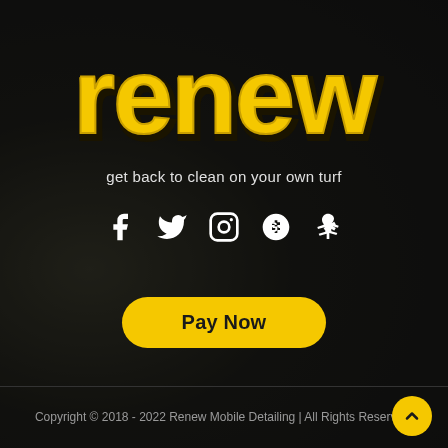[Figure (logo): Renew logo in bold yellow custom lettering with black outline/shadow on dark background]
get back to clean on your own turf
[Figure (infographic): Social media icons: Facebook, Twitter, Instagram, Google+, Yelp — all white on dark background]
Pay Now
Copyright © 2018 - 2022 Renew Mobile Detailing | All Rights Reserved.